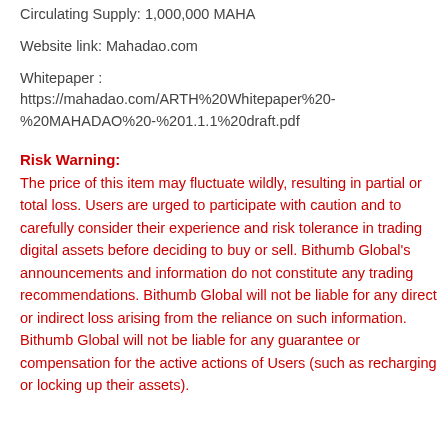Circulating Supply: 1,000,000 MAHA
Website link: Mahadao.com
Whitepaper :
https://mahadao.com/ARTH%20Whitepaper%20-%20MAHADAO%20-%201.1.1%20draft.pdf
Risk Warning:
The price of this item may fluctuate wildly, resulting in partial or total loss. Users are urged to participate with caution and to carefully consider their experience and risk tolerance in trading digital assets before deciding to buy or sell. Bithumb Global's announcements and information do not constitute any trading recommendations. Bithumb Global will not be liable for any direct or indirect loss arising from the reliance on such information. Bithumb Global will not be liable for any guarantee or compensation for the active actions of Users (such as recharging or locking up their assets).